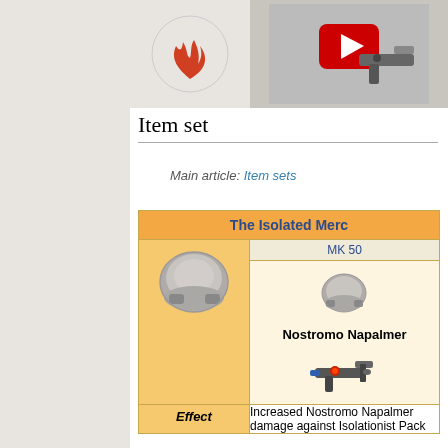[Figure (photo): Top area showing flame icon and weapon/napalmer image]
Item set
Main article: Item sets
| The Isolated Merc |
| --- |
| (helmet image) | MK 50
(helmet image)
Nostromo Napalmer
(weapon image) |
| (effect image) | Increased Nostromo Napalmer damage against Isolationist Pack |